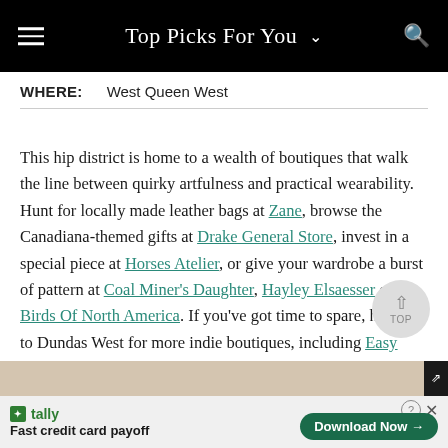Top Picks For You
WHERE:    West Queen West
This hip district is home to a wealth of boutiques that walk the line between quirky artfulness and practical wearability. Hunt for locally made leather bags at Zane, browse the Canadiana-themed gifts at Drake General Store, invest in a special piece at Horses Atelier, or give your wardrobe a burst of pattern at Coal Miner's Daughter, Hayley Elsaesser or Birds Of North America. If you've got time to spare, head up to Dundas West for more indie boutiques, including Easy Tiger and Comrags.
[Figure (photo): Partial photo visible at bottom of page]
tally Fast credit card payoff  Download Now →